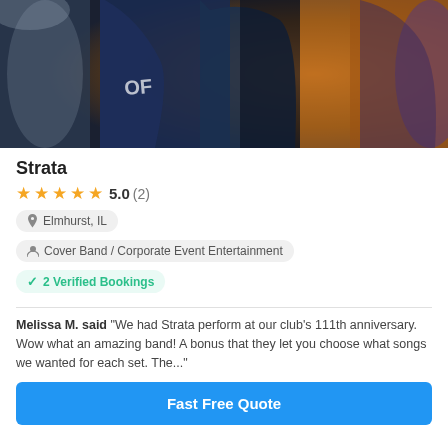[Figure (photo): Concert/band photo showing people in dark setting with blue jacket and orange accent lighting in background]
Strata
★★★★★ 5.0 (2)
📍 Elmhurst, IL
Cover Band / Corporate Event Entertainment
✓ 2 Verified Bookings
Melissa M. said "We had Strata perform at our club's 111th anniversary. Wow what an amazing band! A bonus that they let you choose what songs we wanted for each set. The..."
Fast Free Quote